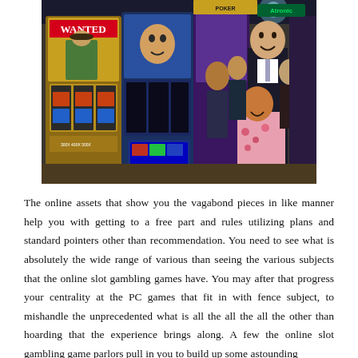[Figure (photo): Casino floor photo showing slot machines including a 'WANTED' western-themed machine, people playing and posing, including a smiling man in a suit and a woman in a floral dress.]
The online assets that show you the vagabond pieces in like manner help you with getting to a free part and rules utilizing plans and standard pointers other than recommendation. You need to see what is absolutely the wide range of various than seeing the various subjects that the online slot gambling games have. You may after that progress your centrality at the PC games that fit in with fence subject, to mishandle the unprecedented what is all the all the all the other than hoarding that the experience brings along. A few the online slot gambling game parlors pull in you to build up some astounding